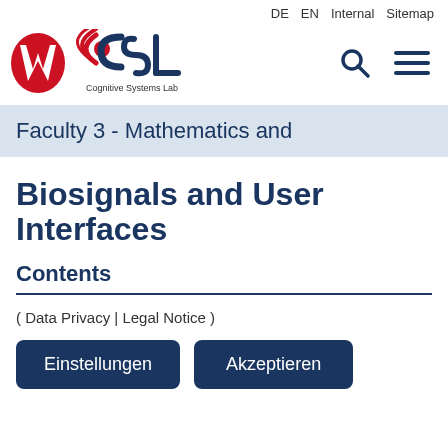DE  EN  Internal  Sitemap
[Figure (logo): University of Bremen and CSL (Cognitive Systems Lab) logo with red and dark blue graphic marks]
Faculty 3 - Mathematics and
Biosignals and User Interfaces
Contents
( Data Privacy | Legal Notice )
Einstellungen  Akzeptieren